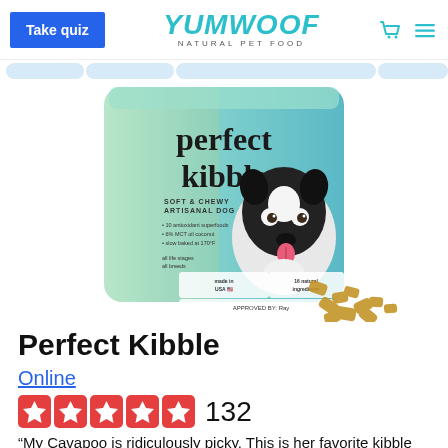YUMWOOF NATURAL PET FOOD | Take quiz | Cart | Menu
[Figure (photo): Product photo of Yumwoof Perfect Kibble bag (teal and green packaging with Boston Terrier dog illustration) with soft/chewy kibble pieces scattered in front of it.]
Perfect Kibble
Online
132 (5-star rating)
“My Cavapoo is ridiculously picky. This is her favorite kibble so far. Glad my friend shared it.”